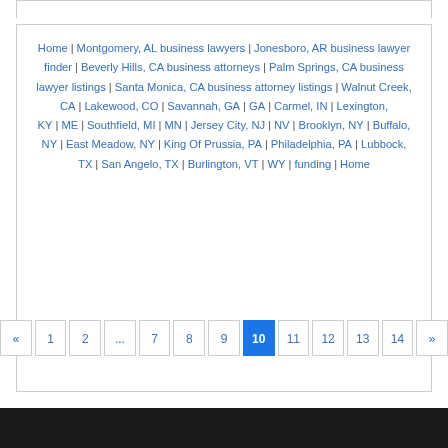Home | Montgomery, AL business lawyers | Jonesboro, AR business lawyer finder | Beverly Hills, CA business attorneys | Palm Springs, CA business lawyer listings | Santa Monica, CA business attorney listings | Walnut Creek, CA | Lakewood, CO | Savannah, GA | GA | Carmel, IN | Lexington, KY | ME | Southfield, MI | MN | Jersey City, NJ | NV | Brooklyn, NY | Buffalo, NY | East Meadow, NY | King Of Prussia, PA | Philadelphia, PA | Lubbock, TX | San Angelo, TX | Burlington, VT | WY | funding | Home
« 1 2 ... 7 8 9 10 11 12 13 14 »